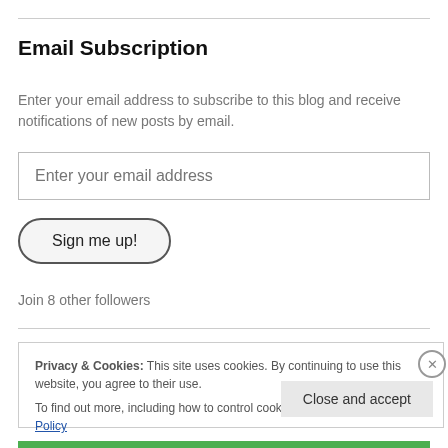Email Subscription
Enter your email address to subscribe to this blog and receive notifications of new posts by email.
[Figure (other): Email input field with placeholder text 'Enter your email address']
[Figure (other): Button labeled 'Sign me up!' with rounded border]
Join 8 other followers
Privacy & Cookies: This site uses cookies. By continuing to use this website, you agree to their use.
To find out more, including how to control cookies, see here: Cookie Policy
Close and accept